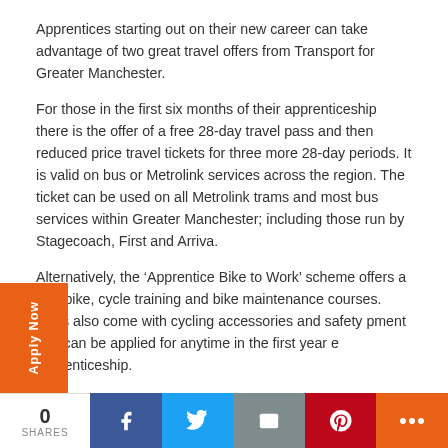Apprentices starting out on their new career can take advantage of two great travel offers from Transport for Greater Manchester.
For those in the first six months of their apprenticeship there is the offer of a free 28-day travel pass and then reduced price travel tickets for three more 28-day periods. It is valid on bus or Metrolink services across the region. The ticket can be used on all Metrolink trams and most bus services within Greater Manchester; including those run by Stagecoach, First and Arriva.
Alternatively, the ‘Apprentice Bike to Work’ scheme offers a free bike, cycle training and bike maintenance courses. bikes also come with cycling accessories and safety pment and can be applied for anytime in the first year e apprenticeship.